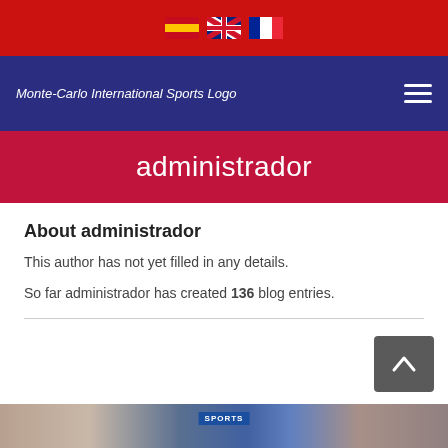Language selector flags: Spanish, English, French
[Figure (logo): Monte-Carlo International Sports Logo with navigation hamburger menu]
administrador
About administrador
This author has not yet filled in any details.
So far administrador has created 136 blog entries.
[Figure (photo): Sports image strip at bottom of page with SPORTS badge]